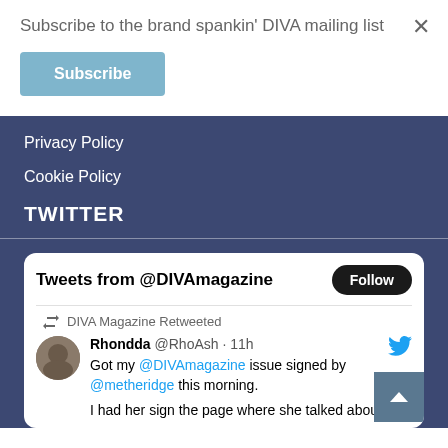Subscribe to the brand spankin' DIVA mailing list
Subscribe
×
Privacy Policy
Cookie Policy
TWITTER
[Figure (screenshot): Twitter widget showing tweets from @DIVAmagazine with a Follow button. A retweet from DIVA Magazine Retweeted shows: Rhondda @RhoAsh · 11h — Got my @DIVAmagazine issue signed by @metheridge this morning. I had her sign the page where she talked about...]
Tweets from @DIVAmagazine
Follow
DIVA Magazine Retweeted
Rhondda @RhoAsh · 11h
Got my @DIVAmagazine issue signed by @metheridge this morning.
I had her sign the page where she talked about